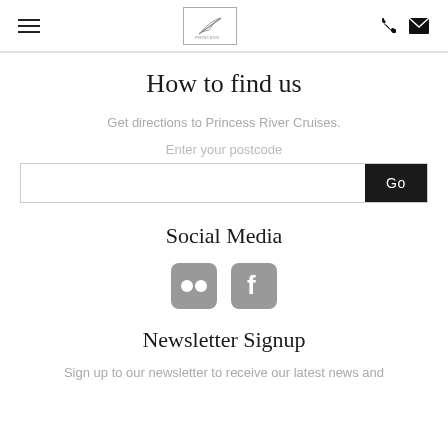Princess River Cruises navigation header with hamburger menu, logo, phone and email icons
How to find us
Get directions to Princess River Cruises.
Enter your postcode
Social Media
[Figure (illustration): Flickr and Facebook social media icons in grey rounded squares]
Newsletter Signup
Sign up to our newsletter to receive our latest news and